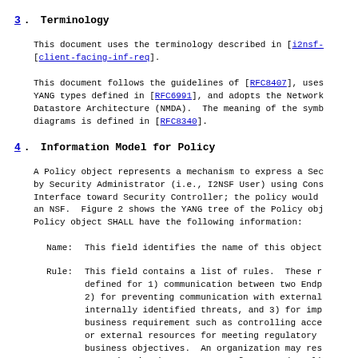3. Terminology
This document uses the terminology described in [i2nsf-[client-facing-inf-req].
This document follows the guidelines of [RFC8407], uses YANG types defined in [RFC6991], and adopts the Network Datastore Architecture (NMDA). The meaning of the symb diagrams is defined in [RFC8340].
4. Information Model for Policy
A Policy object represents a mechanism to express a Sec by Security Administrator (i.e., I2NSF User) using Cons Interface toward Security Controller; the policy would an NSF. Figure 2 shows the YANG tree of the Policy obj Policy object SHALL have the following information:
Name: This field identifies the name of this object
Rule: This field contains a list of rules. These r defined for 1) communication between two Endp 2) for preventing communication with external internally identified threats, and 3) for imp business requirement such as controlling acce or external resources for meeting regulatory business objectives. An organization may res communication between a set of user and appli example. The threats may be from threat feed